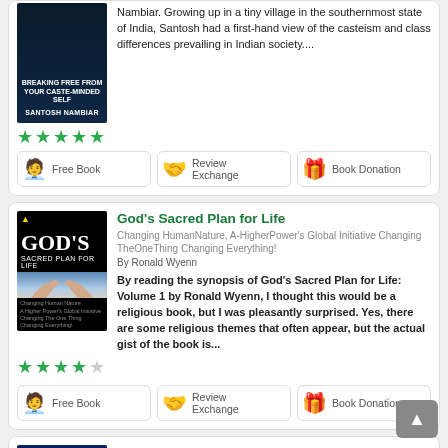Nambiar. Growing up in a tiny village in the southernmost state of India, Santosh had a first-hand view of the casteism and class differences prevailing in Indian society....
[Figure (other): 5 green star rating]
[Figure (other): Action buttons: Free Book, Review Exchange, Book Donation]
God's Sacred Plan for Life
Changing HumanNature, A-HigherPower's Global Initiative Changing TheOneThing Changing Everything! By Ronald Wyenn
By reading the synopsis of God's Sacred Plan for Life: Volume 1 by Ronald Wyenn, I thought this would be a religious book, but I was pleasantly surprised. Yes, there are some religious themes that often appear, but the actual gist of the book is...
[Figure (other): Book cover: God's Sacred Plan for Life]
[Figure (other): 4 out of 5 green stars rating]
[Figure (other): Action buttons: Free Book, Review Exchange, Book Donation]
Orville Mouse and the Puzzle of the Clockwork Glowbirds
[Figure (other): Book cover: Orville Mouse - blue cover]